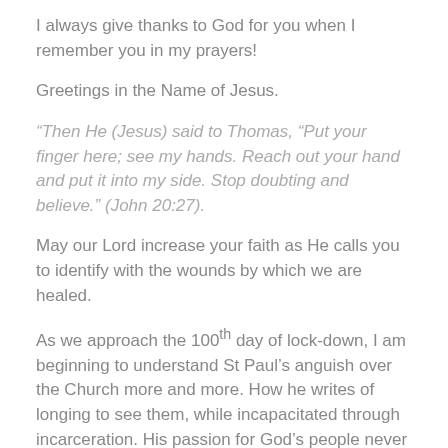I always give thanks to God for you when I remember you in my prayers!
Greetings in the Name of Jesus.
“Then He (Jesus) said to Thomas, “Put your finger here; see my hands. Reach out your hand and put it into my side. Stop doubting and believe.” (John 20:27).
May our Lord increase your faith as He calls you to identify with the wounds by which we are healed.
As we approach the 100th day of lock-down, I am beginning to understand St Paul’s anguish over the Church more and more. How he writes of longing to see them, while incapacitated through incarceration. His passion for God’s people never died, and his love for them increased even though they were separated.